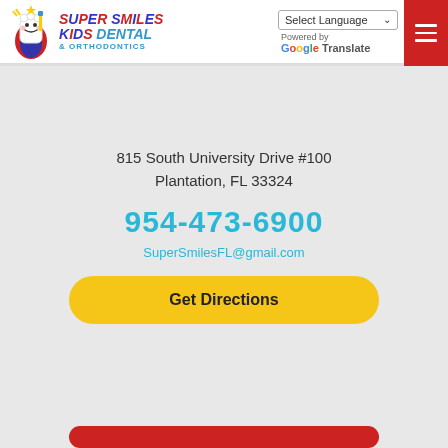[Figure (logo): Super Smiles Kids Dental & Orthodontics logo with cartoon tooth mascot and colorful text]
Select Language
Powered by Google Translate
815 South University Drive #100
Plantation, FL 33324
954-473-6900
SuperSmilesFL@gmail.com
Get Directions